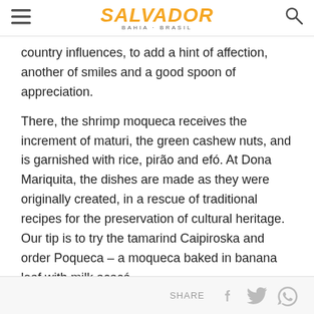Salvador Bahia Brasil
country influences, to add a hint of affection, another of smiles and a good spoon of appreciation.
There, the shrimp moqueca receives the increment of maturi, the green cashew nuts, and is garnished with rice, pirão and efó. At Dona Mariquita, the dishes are made as they were originally created, in a rescue of traditional recipes for the preservation of cultural heritage. Our tip is to try the tamarind Caipiroska and order Poqueca – a moqueca baked in banana leaf with milk acaçá.
Service
Dona Mariquita:
SHARE